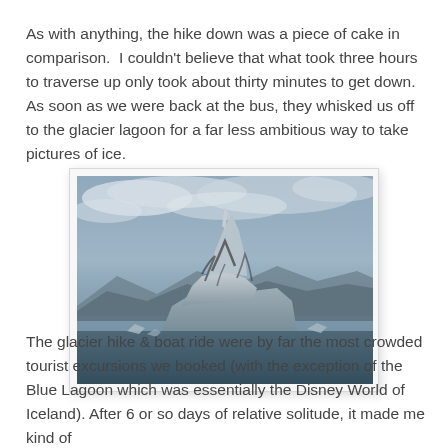As with anything, the hike down was a piece of cake in comparison.  I couldn't believe that what took three hours to traverse up only took about thirty minutes to get down.  As soon as we were back at the bus, they whisked us off to the glacier lagoon for a far less ambitious way to take pictures of ice.
[Figure (photo): Photograph of a large sculpted glacier/iceberg in a lagoon with grey cloudy sky and mountains in the background. The iceberg has distinctive rocky dark striations and an unusual tall pointed shape.]
The glacier hike & boat ride were by far the most crowded tourist excursions we booked (with the exception of the Blue Lagoon which was essentially the Disney World of Iceland). After 6 or so days of relative solitude, it made me kind of